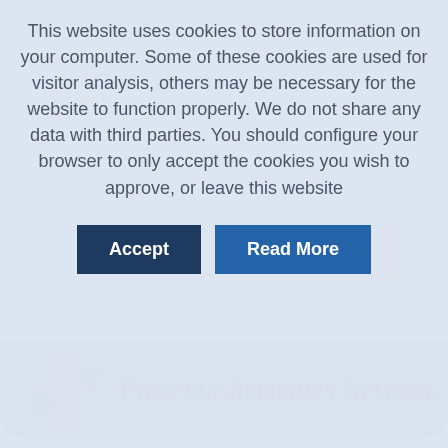This website uses cookies to store information on your computer. Some of these cookies are used for visitor analysis, others may be necessary for the website to function properly. We do not share any data with third parties. You should configure your browser to only accept the cookies you wish to approve, or leave this website
[Figure (other): Two buttons: 'Accept' (dark navy) and 'Read More' (blue) for cookie consent]
[Figure (logo): Placenta Remedies Network logo with purple flower graphic and italic purple script text on a blue-grey rounded banner]
Placenta Remedies Network is a not-for-profit organisation dedicated all those with an interest in the power of the placenta in boosting postnatal recovery. All members are certified in the preparation of placenta remedies with an accredited training provider and an